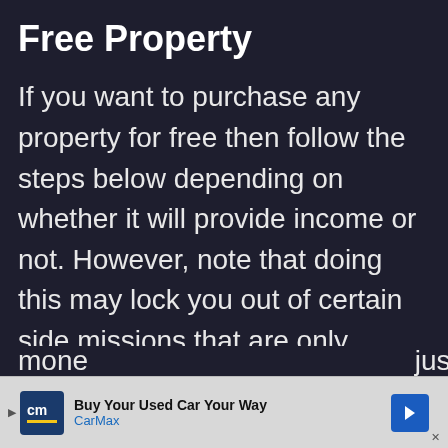Free Property
If you want to purchase any property for free then follow the steps below depending on whether it will provide income or not. However, note that doing this may lock you out of certain side missions that are only activated when you purchase property the normal way. If you use this glitch and get them free you will never get the chance to do these side-missions. Also you must have enough money... just won't spend it).
[Figure (other): Advertisement banner: CarMax - Buy Your Used Car Your Way]